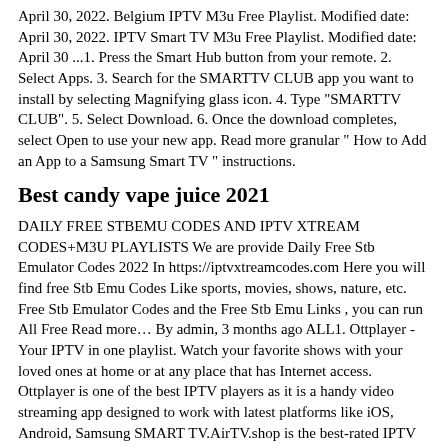April 30, 2022. Belgium IPTV M3u Free Playlist. Modified date: April 30, 2022. IPTV Smart TV M3u Free Playlist. Modified date: April 30 ...1. Press the Smart Hub button from your remote. 2. Select Apps. 3. Search for the SMARTTV CLUB app you want to install by selecting Magnifying glass icon. 4. Type "SMARTTV CLUB". 5. Select Download. 6. Once the download completes, select Open to use your new app. Read more granular " How to Add an App to a Samsung Smart TV " instructions.
Best candy vape juice 2021
DAILY FREE STBEMU CODES AND IPTV XTREAM CODES+M3U PLAYLISTS We are provide Daily Free Stb Emulator Codes 2022 In https://iptvxtreamcodes.com Here you will find free Stb Emu Codes Like sports, movies, shows, nature, etc. Free Stb Emulator Codes and the Free Stb Emu Links , you can run All Free Read more… By admin, 3 months ago ALL1. Ottplayer - Your IPTV in one playlist. Watch your favorite shows with your loved ones at home or at any place that has Internet access. Ottplayer is one of the best IPTV players as it is a handy video streaming app designed to work with latest platforms like iOS, Android, Samsung SMART TV.AirTV.shop is the best-rated IPTV provider covering the most channels in HD around the world and more. Get the best IPTV service now. ... TV Box: Fire TV / Fire Stick; Samsung Phone; Formuler Android OTT; NVIDIA...